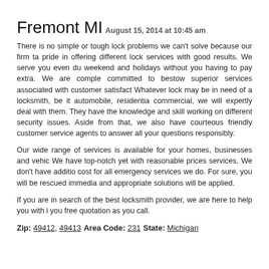Fremont MI
August 15, 2014 at 10:45 am
There is no simple or tough lock problems we can't solve because our firm ta pride in offering different lock services with good results. We serve you even du weekend and holidays without you having to pay extra. We are comple committed to bestow superior services associated with customer satisfact Whatever lock may be in need of a locksmith, be it automobile, residentia commercial, we will expertly deal with them. They have the knowledge and skill working on different security issues. Aside from that, we also have courteous friendly customer service agents to answer all your questions responsibly.
Our wide range of services is available for your homes, businesses and vehic We have top-notch yet with reasonable prices services. We don't have additio cost for all emergency services we do. For sure, you will be rescued immedia and appropriate solutions will be applied.
If you are in search of the best locksmith provider, we are here to help you with i you free quotation as you call.
Zip: 49412, 49413
Area Code: 231
State: Michigan